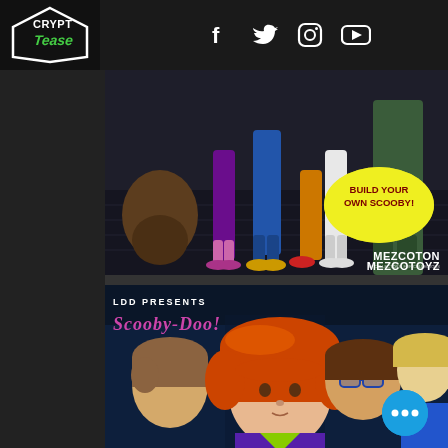[Figure (logo): Crypt Teaze logo in white and green on dark background]
[Figure (photo): Social media icons: Facebook, Twitter, Instagram, YouTube in white on dark background]
[Figure (photo): Mezco Toyz Scooby-Doo figures shown from waist down with 'Build Your Own Scooby!' yellow bubble and Mezco Toyz logo]
[Figure (photo): LDD Presents Scooby-Doo Living Dead Dolls featuring Daphne, Velma, Shaggy and Fred doll heads close-up with Scooby-Doo logo text]
[Figure (photo): Blue circular chat/message button with three white dots]